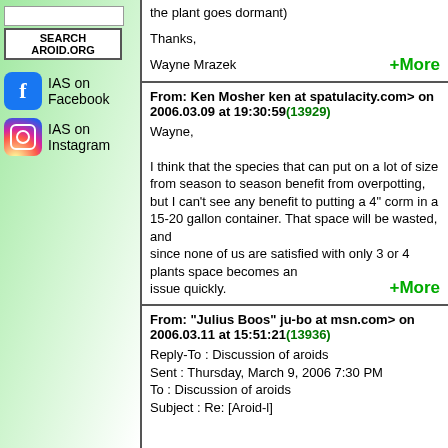the plant goes dormant)
Thanks,

Wayne Mrazek
From: Ken Mosher ken at spatulacity.com> on 2006.03.09 at 19:30:59(13929)
Wayne,

I think that the species that can put on a lot of size from season to season benefit from overpotting, but I can't see any benefit to putting a 4" corm in a 15-20 gallon container. That space will be wasted, and since none of us are satisfied with only 3 or 4 plants space becomes an issue quickly.
From: "Julius Boos" ju-bo at msn.com> on 2006.03.11 at 15:51:21(13936)
Reply-To : Discussion of aroids
Sent : Thursday, March 9, 2006 7:30 PM
To : Discussion of aroids
Subject : Re: [Aroid-l]